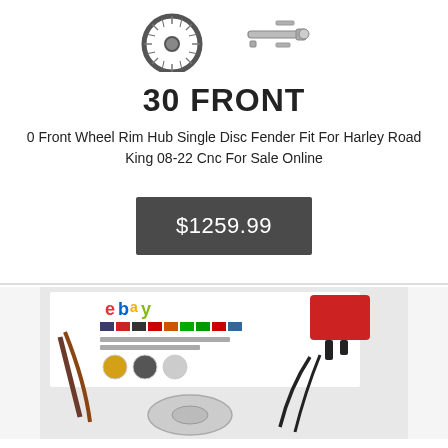[Figure (photo): Two product images: a spoked motorcycle wheel rim and axle/hardware components on white background]
30 FRONT
0 Front Wheel Rim Hub Single Disc Fender Fit For Harley Road King 08-22 Cnc For Sale Online
$1259.99
[Figure (photo): Product listing photo showing eBay seller page with international flags and motorcycle wheel hub/brake assembly components]